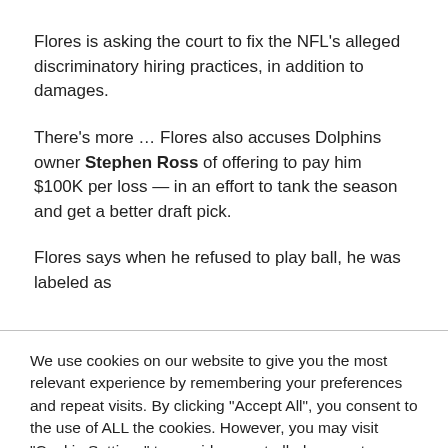Flores is asking the court to fix the NFL's alleged discriminatory hiring practices, in addition to damages.
There's more … Flores also accuses Dolphins owner Stephen Ross of offering to pay him $100K per loss — in an effort to tank the season and get a better draft pick.
Flores says when he refused to play ball, he was labeled as
We use cookies on our website to give you the most relevant experience by remembering your preferences and repeat visits. By clicking "Accept All", you consent to the use of ALL the cookies. However, you may visit "Cookie Settings" to provide a controlled consent.